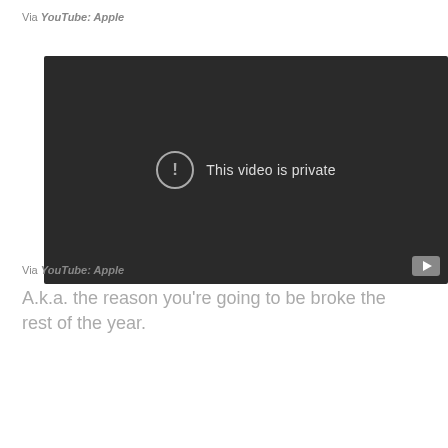Via YouTube: Apple
[Figure (screenshot): YouTube video embed showing 'This video is private' error message with exclamation icon on dark background, and a YouTube play button icon in the bottom right corner.]
Via YouTube: Apple
A.k.a. the reason you’re going to be broke the rest of the year.